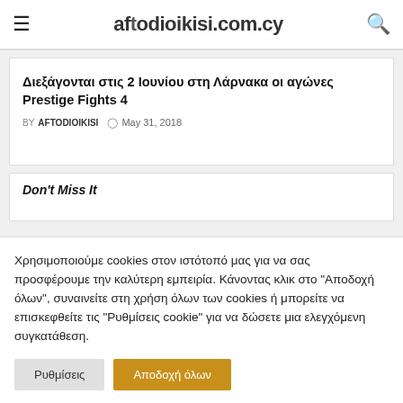aftodioikisi.com.cy
Διεξάγονται στις 2 Ιουνίου στη Λάρνακα οι αγώνες Prestige Fights 4
BY AFTODIOIKISI  May 31, 2018
Don't Miss It
Χρησιμοποιούμε cookies στον ιστότοπό μας για να σας προσφέρουμε την καλύτερη εμπειρία. Κάνοντας κλικ στο "Αποδοχή όλων", συναινείτε στη χρήση όλων των cookies ή μπορείτε να επισκεφθείτε τις "Ρυθμίσεις cookie" για να δώσετε μια ελεγχόμενη συγκατάθεση.
Ρυθμίσεις | Αποδοχή όλων